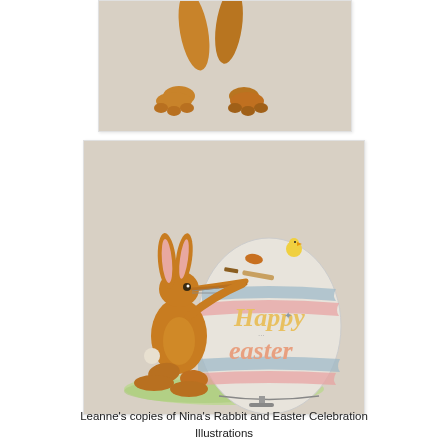[Figure (illustration): Top portion of an illustration showing brown rabbit legs/feet and what appears to be a bunny character cropped at the top of the frame, on a beige/linen textured background.]
[Figure (illustration): Watercolor illustration of a brown rabbit painting a large Easter egg with a paintbrush. The egg has 'Happy easter' written on it in colorful letters and is decorated with pink, blue stripes. A small yellow chick sits on top of the egg. The rabbit holds a paintbrush in his long nose. Green grass beneath on a beige linen textured background.]
Leanne's copies of Nina's Rabbit and Easter Celebration Illustrations